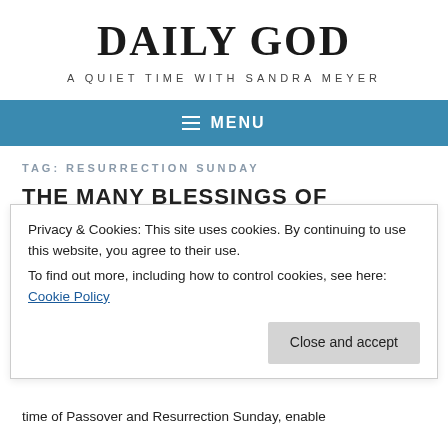DAILY GOD
A QUIET TIME WITH SANDRA MEYER
≡ MENU
TAG: RESURRECTION SUNDAY
THE MANY BLESSINGS OF
Privacy & Cookies: This site uses cookies. By continuing to use this website, you agree to their use.
To find out more, including how to control cookies, see here: Cookie Policy
Close and accept
time of Passover and Resurrection Sunday, enable